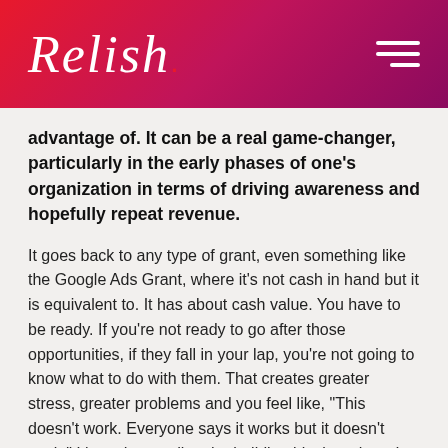Relish.
advantage of. It can be a real game-changer, particularly in the early phases of one’s organization in terms of driving awareness and hopefully repeat revenue.
It goes back to any type of grant, even something like the Google Ads Grant, where it’s not cash in hand but it is equivalent to. It has about cash value. You have to be ready. If you’re not ready to go after those opportunities, if they fall in your lap, you’re not going to know what to do with them. That creates greater stress, greater problems and you feel like, “This doesn’t work. Everyone says it works but it doesn’t work.” It’s understanding the building blocks, where I start, and how I continue to build up on that so that I’m moving